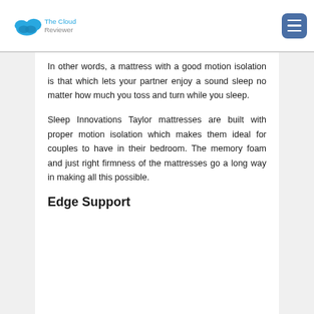The Cloud Reviewer
In other words, a mattress with a good motion isolation is that which lets your partner enjoy a sound sleep no matter how much you toss and turn while you sleep.
Sleep Innovations Taylor mattresses are built with proper motion isolation which makes them ideal for couples to have in their bedroom. The memory foam and just right firmness of the mattresses go a long way in making all this possible.
Edge Support